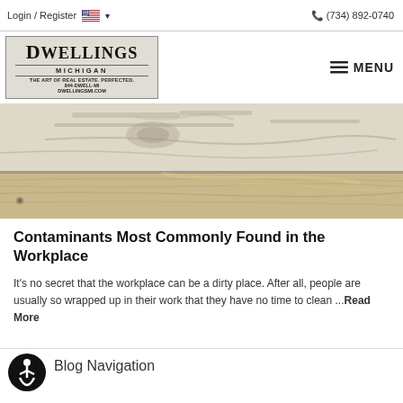Login / Register   🇺🇸 ▾   📞 (734) 892-0740
[Figure (logo): Dwellings Michigan real estate logo with text: THE ART OF REAL ESTATE. PERFECTED. 844-DWELL-MI DWELLINGSMI.COM]
[Figure (photo): Close-up photograph of weathered, aged wood planks with white paint peeling, showing natural grain texture in neutral tones]
Contaminants Most Commonly Found in the Workplace
It's no secret that the workplace can be a dirty place. After all, people are usually so wrapped up in their work that they have no time to clean ...Read More
[Figure (other): Accessibility icon button — circular black button with white wheelchair user symbol]
Blog Navigation